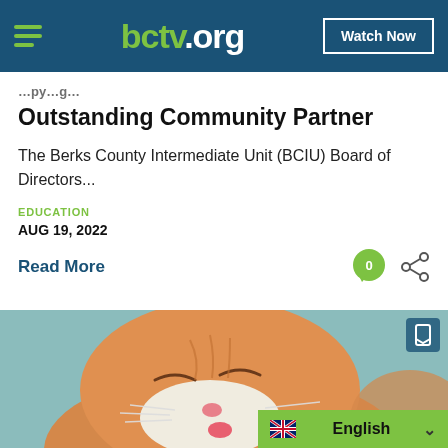bctv.org — Watch Now
Outstanding Community Partner
The Berks County Intermediate Unit (BCIU) Board of Directors...
EDUCATION
AUG 19, 2022
Read More
[Figure (photo): Orange tabby cat grooming itself, licking its paw, eyes closed, close-up shot with teal background]
English